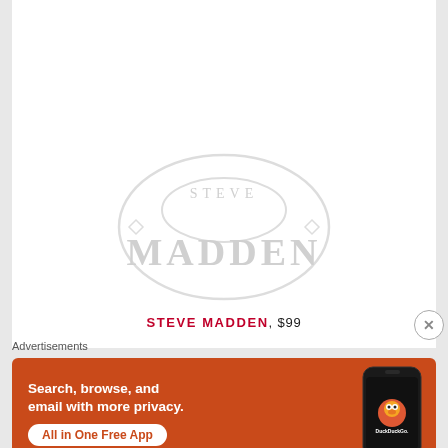[Figure (logo): Steve Madden brand logo — oval stamp shape with 'MADDEN' text in large serif letters, light gray watermark style, partially cropped at top]
STEVE MADDEN, $99
Advertisements
[Figure (screenshot): DuckDuckGo advertisement banner — orange/red background, white bold text 'Search, browse, and email with more privacy.', white pill button 'All in One Free App', and a smartphone mockup showing DuckDuckGo app on the right side]